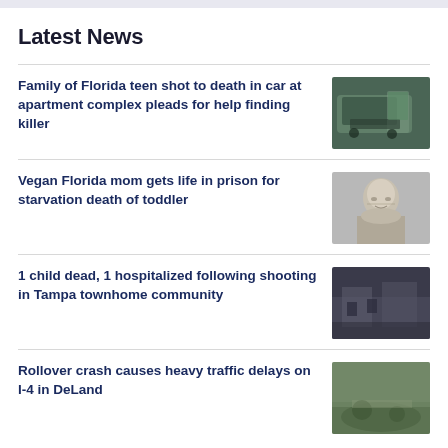Latest News
Family of Florida teen shot to death in car at apartment complex pleads for help finding killer
[Figure (photo): Dark photo of a car with open door at crime scene]
Vegan Florida mom gets life in prison for starvation death of toddler
[Figure (photo): Mugshot of a woman with gray hair]
1 child dead, 1 hospitalized following shooting in Tampa townhome community
[Figure (photo): Blurry dark photo of a townhome area]
Rollover crash causes heavy traffic delays on I-4 in DeLand
[Figure (photo): Blurry photo of crash scene with green vegetation]